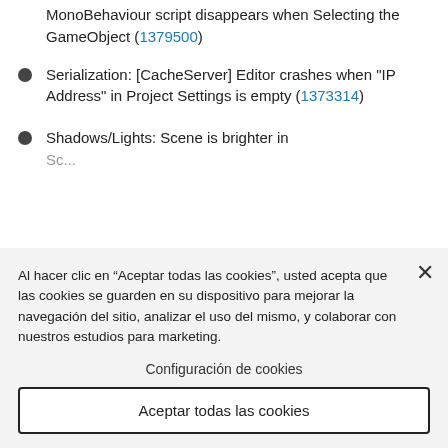MonoBehaviour script disappears when Selecting the GameObject (1379500)
Serialization: [CacheServer] Editor crashes when "IP Address" in Project Settings is empty (1373314)
Shadows/Lights: Scene is brighter in ...
Al hacer clic en “Aceptar todas las cookies”, usted acepta que las cookies se guarden en su dispositivo para mejorar la navegación del sitio, analizar el uso del mismo, y colaborar con nuestros estudios para marketing.
Configuración de cookies
Aceptar todas las cookies